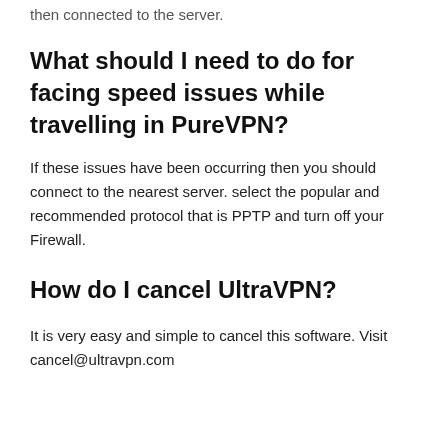then connected to the server.
What should I need to do for facing speed issues while travelling in PureVPN?
If these issues have been occurring then you should connect to the nearest server. select the popular and recommended protocol that is PPTP and turn off your Firewall.
How do I cancel UltraVPN?
It is very easy and simple to cancel this software. Visit cancel@ultravpn.com